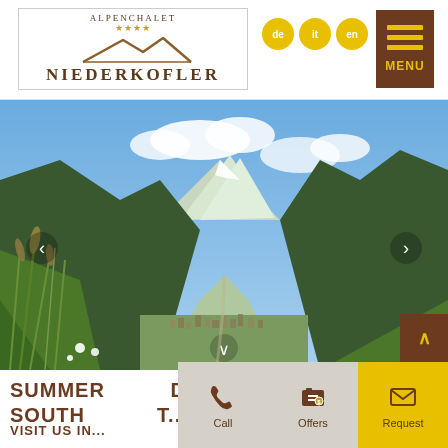[Figure (logo): AlpenChalet Niederkofler logo with mountain silhouette and four stars]
de  it  en
MENU
[Figure (photo): Alpine valley landscape with green meadows, mountain peaks, and a town in the valley under blue sky]
SUMMER ... SOUTH... VISIT US IN...
Call
Offers
Request